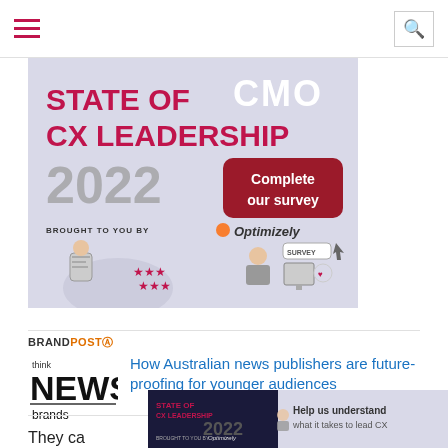Navigation bar with hamburger menu and search icon
[Figure (infographic): CMO State of CX Leadership 2022 survey banner ad, brought to you by Optimizely. Shows illustration of people doing a survey with 'Complete our survey' button.]
BRANDPOST! How Australian news publishers are future-proofing for younger audiences
More from ThinkNewsBrands »
They ca those don't re at
[Figure (infographic): Small CMO State of CX Leadership 2022 ad banner at bottom of page. Text: Help us understand what it takes to lead CX]